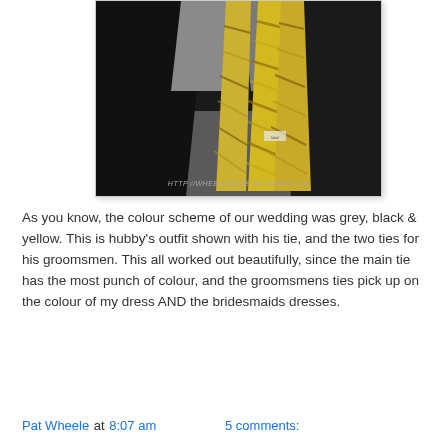[Figure (photo): Photo of a man's torso wearing a black suit jacket and grey trousers, showing three yellow and grey striped ties laid against the outfit. A watermark reads HTTP://WHEELHOUSE-BLOGSPOT.CA at the bottom of the image.]
As you know, the colour scheme of our wedding was grey, black & yellow. This is hubby's outfit shown with his tie, and the two ties for his groomsmen. This all worked out beautifully, since the main tie has the most punch of colour, and the groomsmens ties pick up on the colour of my dress AND the bridesmaids dresses.
Pat Wheele at 8:07 am    5 comments: